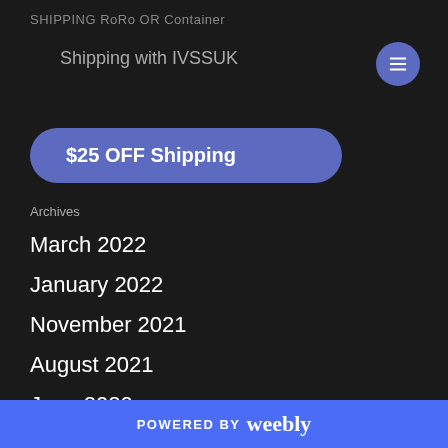SHIPPING RoRo OR Container
Shipping with IVSSUK
$25 OFF Shipping
Archives
March 2022
January 2022
November 2021
August 2021
June 2020
October 2019
July 2019
POWERED BY weebly